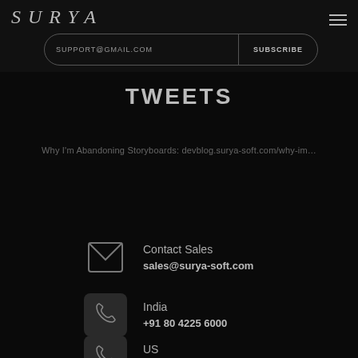SURYA
SUPPORT@GMAIL.COM
SUBSCRIBE
TWEETS
Why I'm Abandoning Storyboards: devblog.surya-soft.com/why-im…
Contact Sales
sales@surya-soft.com
India
+91 80 4225 6000
US
+1 203 769 1018